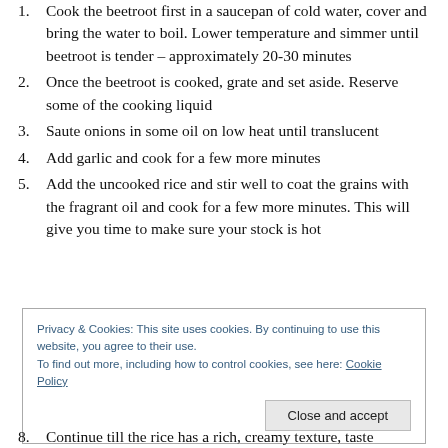Cook the beetroot first in a saucepan of cold water, cover and bring the water to boil. Lower temperature and simmer until beetroot is tender – approximately 20-30 minutes
Once the beetroot is cooked, grate and set aside. Reserve some of the cooking liquid
Saute onions in some oil on low heat until translucent
Add garlic and cook for a few more minutes
Add the uncooked rice and stir well to coat the grains with the fragrant oil and cook for a few more minutes. This will give you time to make sure your stock is hot
Privacy & Cookies: This site uses cookies. By continuing to use this website, you agree to their use.
To find out more, including how to control cookies, see here: Cookie Policy
Continue till the rice has a rich, creamy texture, taste